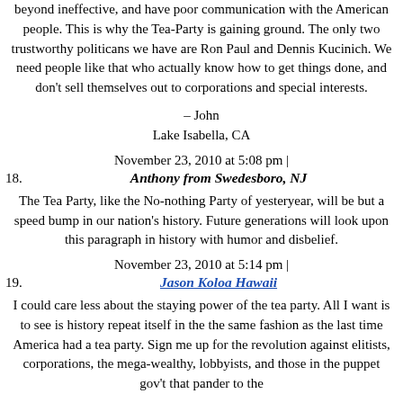beyond ineffective, and have poor communication with the American people. This is why the Tea-Party is gaining ground. The only two trustworthy politicans we have are Ron Paul and Dennis Kucinich. We need people like that who actually know how to get things done, and don't sell themselves out to corporations and special interests.
– John
Lake Isabella, CA
November 23, 2010 at 5:08 pm |
18. Anthony from Swedesboro, NJ
The Tea Party, like the No-nothing Party of yesteryear, will be but a speed bump in our nation's history. Future generations will look upon this paragraph in history with humor and disbelief.
November 23, 2010 at 5:14 pm |
19. Jason Koloa Hawaii
I could care less about the staying power of the tea party. All I want is to see is history repeat itself in the the same fashion as the last time America had a tea party. Sign me up for the revolution against elitists, corporations, the mega-wealthy, lobbyists, and those in the puppet gov't that pander to the